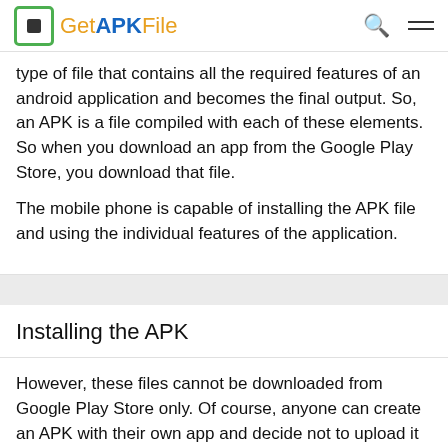GetAPKFile
type of file that contains all the required features of an android application and becomes the final output. So, an APK is a file compiled with each of these elements. So when you download an app from the Google Play Store, you download that file.

The mobile phone is capable of installing the APK file and using the individual features of the application.
Installing the APK
However, these files cannot be downloaded from Google Play Store only. Of course, anyone can create an APK with their own app and decide not to upload it to the Google Play Store. The latter is just a store that contains many apps, but not all. Even if there is an app in the Google Play Store, it does not mean that it cannot be downloaded and installed from somewhere else in